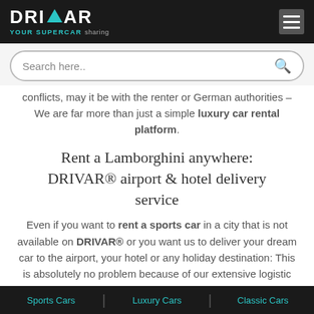DRIVAR YOUR SUPERCAR sharing
conflicts, may it be with the renter or German authorities – We are far more than just a simple luxury car rental platform.
Rent a Lamborghini anywhere: DRIVAR® airport & hotel delivery service
Even if you want to rent a sports car in a city that is not available on DRIVAR® or you want us to deliver your dream car to the airport, your hotel or any holiday destination: This is absolutely no problem because of our extensive logistic
Sports Cars | Luxury Cars | Classic Cars